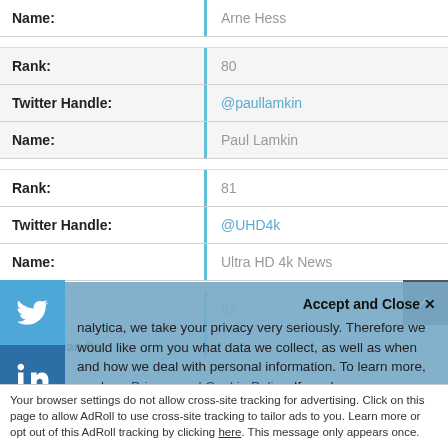| Field | Value |
| --- | --- |
| Name: | Arne Hess |
| Rank: | 80 |
| Twitter Handle: | @paullamkin |
| Name: | Paul Lamkin |
| Rank: | 81 |
| Twitter Handle: | @UHD4k |
| Name: | Ultra HD 4k News |
| Rank: | 82 |
nalytica, we take your privacy very seriously. Therefore we would like orm you what data we collect, as well as when and how we deal with personal information. To learn more, read our Privacy and Cookie Policy. If you have any questions, don't hesitate to contact us
Accept and Close ×
Your browser settings do not allow cross-site tracking for advertising. Click on this page to allow AdRoll to use cross-site tracking to tailor ads to you. Learn more or opt out of this AdRoll tracking by clicking here. This message only appears once.